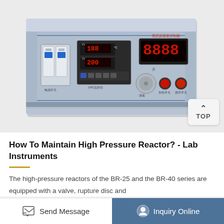[Figure (photo): A blue-gray high-pressure reactor controller instrument box with digital displays, temperature controller, circuit breakers, rotary knob, and control buttons. Chinese text labeling on the front panel.]
How To Maintain High Pressure Reactor? - Lab Instruments
The high-pressure reactors of the BR-25 and the BR-40 series are equipped with a valve, rupture disc and